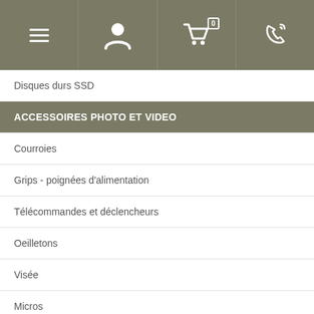[Figure (screenshot): Top navigation bar with hamburger menu, user account icon, shopping cart with badge showing 0, and phone/contact icon on dark olive/taupe background]
Disques durs SSD
ACCESSOIRES PHOTO ET VIDEO
Courroies
Grips - poignées d'alimentation
Télécommandes et déclencheurs
Oeilletons
Visée
Micros
Accessoires macro
Protections et paresoleils écrans
Convertisseurs optique et bagues d'adaptation